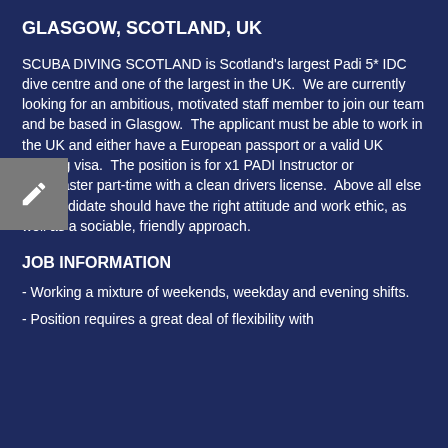GLASGOW, SCOTLAND, UK
SCUBA DIVING SCOTLAND is Scotland's largest Padi 5* IDC dive centre and one of the largest in the UK. We are currently looking for an ambitious, motivated staff member to join our team and be based in Glasgow. The applicant must be able to work in the UK and either have a European passport or a valid UK working visa. The position is for x1 PADI Instructor or Divemaster part-time with a clean drivers license. Above all else the candidate should have the right attitude and work ethic, as well as a sociable, friendly approach.
JOB INFORMATION
- Working a mixture of weekends, weekday and evening shifts.
- Position requires a great deal of flexibility with